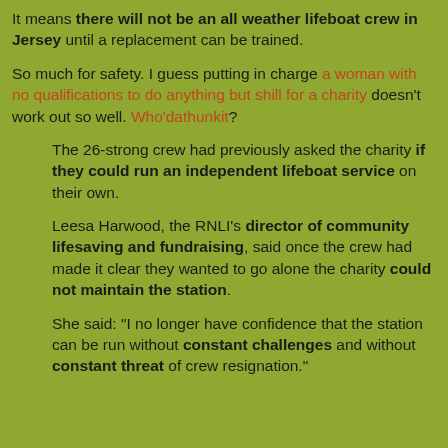It means there will not be an all weather lifeboat crew in Jersey until a replacement can be trained.
So much for safety. I guess putting in charge a woman with no qualifications to do anything but shill for a charity doesn't work out so well. Who'dathunkit?
The 26-strong crew had previously asked the charity if they could run an independent lifeboat service on their own.
Leesa Harwood, the RNLI's director of community lifesaving and fundraising, said once the crew had made it clear they wanted to go alone the charity could not maintain the station.
She said: "I no longer have confidence that the station can be run without constant challenges and without constant threat of crew resignation."